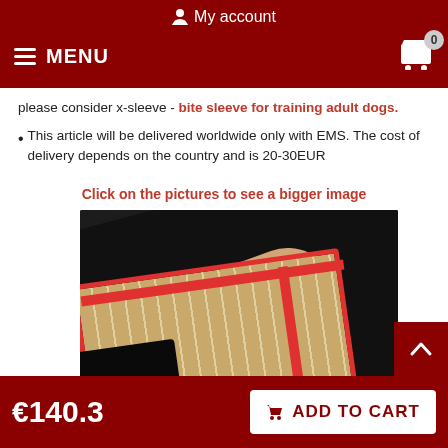My account  MENU  0
please consider x-sleeve - bite sleeve for training adult dogs.
This article will be delivered worldwide only with EMS. The cost of delivery depends on the country and is 20-30EUR
Click on the pictures to see a bigger image
[Figure (photo): Close-up photo of a person's arm holding a dog bite sleeve/training glove with red trim and striped tan/beige surface, wearing a black shirt]
€140.3   ADD TO CART